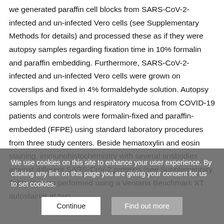we generated paraffin cell blocks from SARS-CoV-2-infected and un-infected Vero cells (see Supplementary Methods for details) and processed these as if they were autopsy samples regarding fixation time in 10% formalin and paraffin embedding. Furthermore, SARS-CoV-2-infected and un-infected Vero cells were grown on coverslips and fixed in 4% formaldehyde solution. Autopsy samples from lungs and respiratory mucosa from COVID-19 patients and controls were formalin-fixed and paraffin-embedded (FFPE) using standard laboratory procedures from three study centers. Beside hematoxylin and eosin staining, immunohistochemistry with several antibodies against different SARS-CoV-2 proteins (see Supplementary Table 2) were performed using a Ventana Benchmark XT autostainer at two
We use cookies on this site to enhance your user experience. By clicking any link on this page you are giving your consent for us to set cookies.